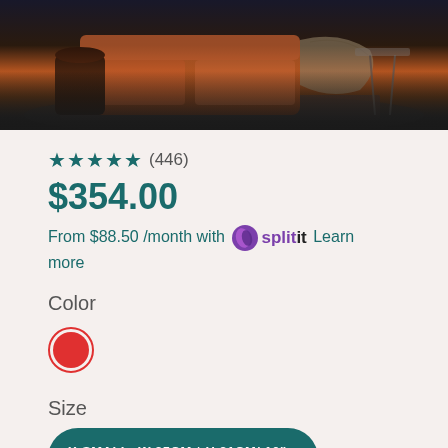[Figure (photo): Product lifestyle photo showing a modern living room with an orange/rust sofa, dark side table, and draped blanket on a patterned rug in a dark-toned room]
★★★★★ (446)
$354.00
From $88.50 /month with Splitit Learn more
Color
[Figure (illustration): Red color swatch circle with red ring border indicating selected color option]
Size
X-SMALL: W 25CM * H 21CM/ 10" 8"
SMALL: W 35CM * H 29CM/ 14" 11"